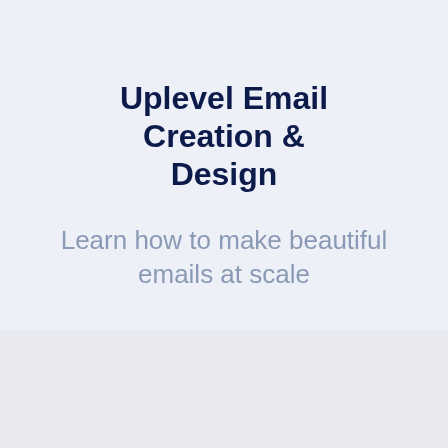Uplevel Email Creation & Design
Learn how to make beautiful emails at scale